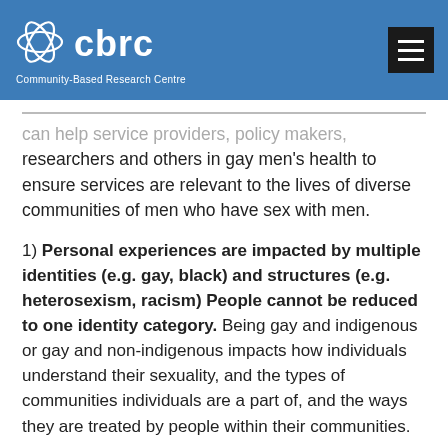cbrc Community-Based Research Centre
can help service providers, policy makers, researchers and others in gay men’s health to ensure services are relevant to the lives of diverse communities of men who have sex with men.
1) Personal experiences are impacted by multiple identities (e.g. gay, black) and structures (e.g. heterosexism, racism) People cannot be reduced to one identity category. Being gay and indigenous or gay and non-indigenous impacts how individuals understand their sexuality, and the types of communities individuals are a part of, and the ways they are treated by people within their communities.
2) Categories (such as gay, indigenous) are